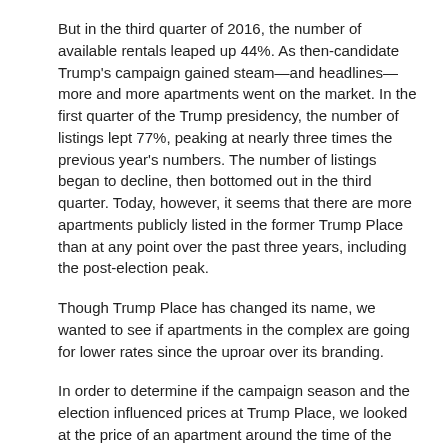But in the third quarter of 2016, the number of available rentals leaped up 44%. As then-candidate Trump's campaign gained steam—and headlines—more and more apartments went on the market. In the first quarter of the Trump presidency, the number of listings lept 77%, peaking at nearly three times the previous year's numbers. The number of listings began to decline, then bottomed out in the third quarter. Today, however, it seems that there are more apartments publicly listed in the former Trump Place than at any point over the past three years, including the post-election peak.
Though Trump Place has changed its name, we wanted to see if apartments in the complex are going for lower rates since the uproar over its branding.
In order to determine if the campaign season and the election influenced prices at Trump Place, we looked at the price of an apartment around the time of the election and compared it to the year before and the year after. The chart below compares prices for apartments in the buildings at the end of 2015 to prices at the end of 2016, when the election took place.